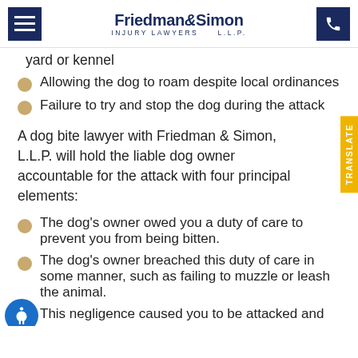Friedman & Simon INJURY LAWYERS L.L.P.
yard or kennel
Allowing the dog to roam despite local ordinances
Failure to try and stop the dog during the attack
A dog bite lawyer with Friedman & Simon, L.L.P. will hold the liable dog owner accountable for the attack with four principal elements:
The dog's owner owed you a duty of care to prevent you from being bitten.
The dog's owner breached this duty of care in some manner, such as failing to muzzle or leash the animal.
This negligence caused you to be attacked and